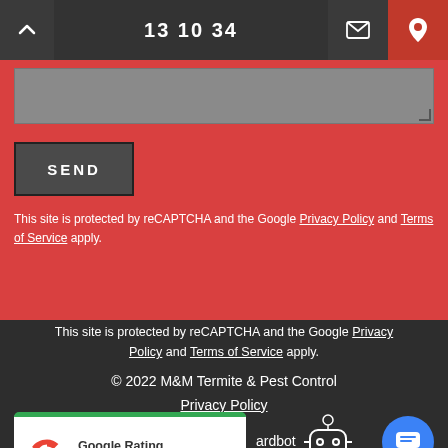13 10 34
SEND
This site is protected by reCAPTCHA and the Google Privacy Policy and Terms of Service apply.
This site is protected by reCAPTCHA and the Google Privacy Policy and Terms of Service apply.
© 2022 M&M Termite & Pest Control
Privacy Policy
[Figure (logo): Google Rating badge showing 4.7 stars with Google G logo]
[Figure (illustration): Beardbot robot mascot icon]
[Figure (other): Blue circular chat button with message icon]